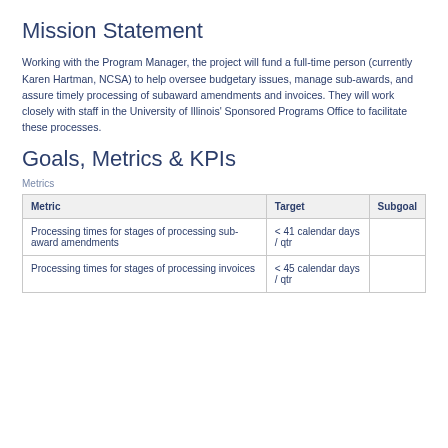Mission Statement
Working with the Program Manager, the project will fund a full-time person (currently Karen Hartman, NCSA) to help oversee budgetary issues, manage sub-awards, and assure timely processing of subaward amendments and invoices. They will work closely with staff in the University of Illinois' Sponsored Programs Office to facilitate these processes.
Goals, Metrics & KPIs
Metrics
| Metric | Target | Subgoal |
| --- | --- | --- |
| Processing times for stages of processing sub-award amendments | < 41 calendar days / qtr |  |
| Processing times for stages of processing invoices | < 45 calendar days / qtr |  |